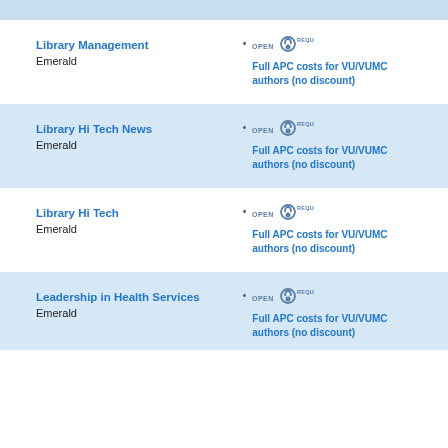Library Management
Emerald
Full APC costs for VU/VUMC authors (no discount)
Library Hi Tech News
Emerald
Full APC costs for VU/VUMC authors (no discount)
Library Hi Tech
Emerald
Full APC costs for VU/VUMC authors (no discount)
Leadership in Health Services
Emerald
Full APC costs for VU/VUMC authors (no discount)